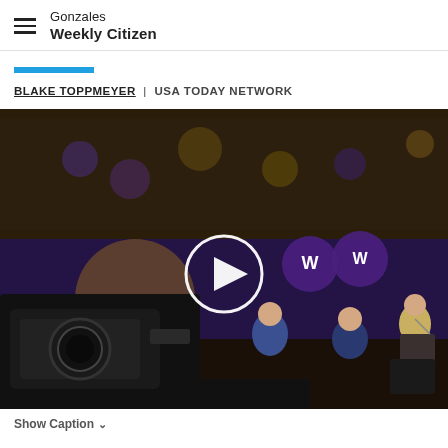Gonzales Weekly Citizen
(partial article title — clipped at top)
BLAKE TOPPMEYER | USA TODAY NETWORK
[Figure (photo): Video thumbnail showing a championship celebration event inside an arena packed with fans wearing purple and gold. On stage are several people seated and one person standing at a podium. Championship banners hang in the background. A large TV camera is visible in the foreground. A circular white play button overlay is centered on the image.]
Show Caption